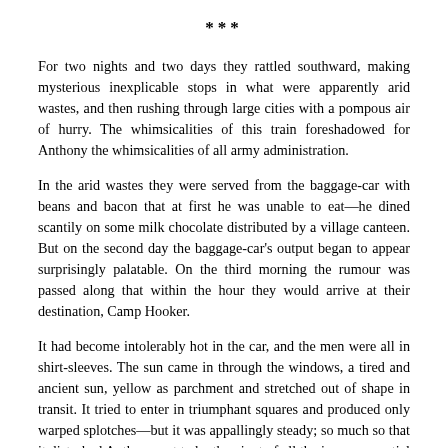***
For two nights and two days they rattled southward, making mysterious inexplicable stops in what were apparently arid wastes, and then rushing through large cities with a pompous air of hurry. The whimsicalities of this train foreshadowed for Anthony the whimsicalities of all army administration.
In the arid wastes they were served from the baggage-car with beans and bacon that at first he was unable to eat—he dined scantily on some milk chocolate distributed by a village canteen. But on the second day the baggage-car's output began to appear surprisingly palatable. On the third morning the rumour was passed along that within the hour they would arrive at their destination, Camp Hooker.
It had become intolerably hot in the car, and the men were all in shirt-sleeves. The sun came in through the windows, a tired and ancient sun, yellow as parchment and stretched out of shape in transit. It tried to enter in triumphant squares and produced only warped splotches—but it was appallingly steady; so much so that it disturbed Anthony not to be the pivot of all the inconsequential sawmills and